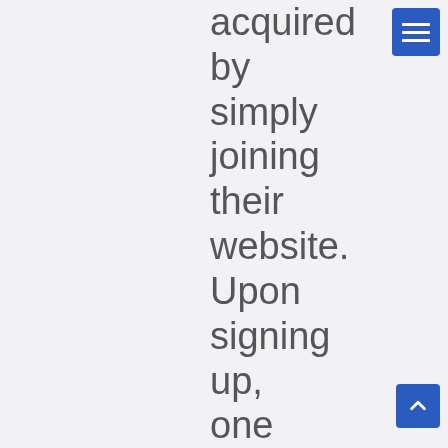[Figure (screenshot): Blue hamburger menu button in top right corner]
acquired by simply joining their website. Upon signing up, one can instantly gain access to its casino
[Figure (screenshot): Blue scroll-to-top button with upward chevron arrow in bottom right corner]